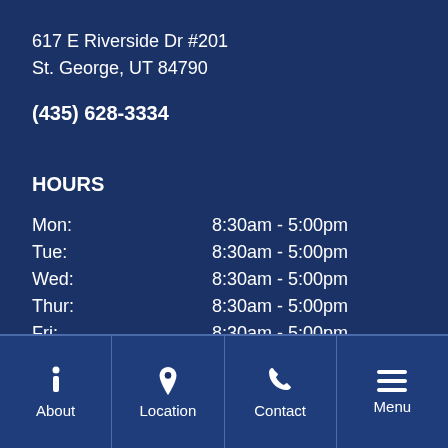617 E Riverside Dr #201
St. George, UT 84790
(435) 628-3334
HOURS
| Day | Hours |
| --- | --- |
| Mon: | 8:30am - 5:00pm |
| Tue: | 8:30am - 5:00pm |
| Wed: | 8:30am - 5:00pm |
| Thur: | 8:30am - 5:00pm |
| Fri: | 8:30am - 5:00pm |
QUICK LINKS
About
Location
Contact
Menu